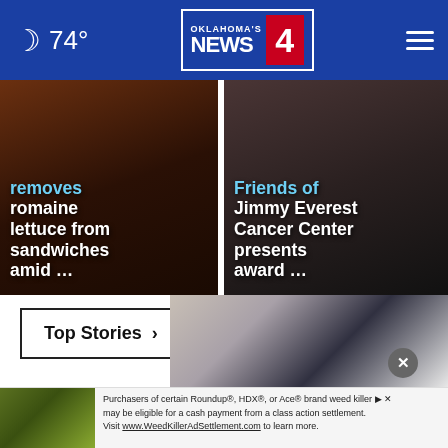74° Oklahoma's News 4
[Figure (screenshot): News card left: text about removing romaine lettuce from sandwiches amid ... with dark food background]
[Figure (screenshot): News card right: text about Friends of Jimmy Everest Cancer Center presents award ... with dark background]
Top Stories ›
[Figure (photo): Shoe/sandal advertisement image showing feet wearing black sandals with jeans]
[Figure (screenshot): Advertisement: Purchasers of certain Roundup®, HDX®, or Ace® brand weed killer may be eligible for a cash payment from a class action settlement. Visit www.WeedKillerAdSettlement.com to learn more.]